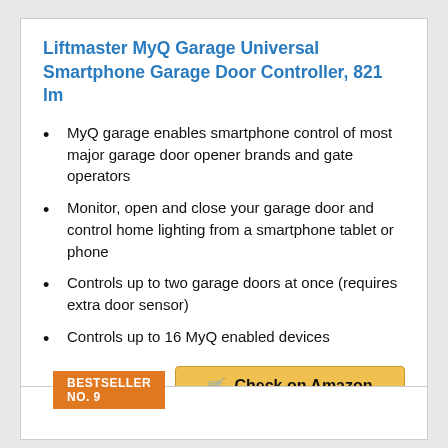Liftmaster MyQ Garage Universal Smartphone Garage Door Controller, 821 lm
MyQ garage enables smartphone control of most major garage door opener brands and gate operators
Monitor, open and close your garage door and control home lighting from a smartphone tablet or phone
Controls up to two garage doors at once (requires extra door sensor)
Controls up to 16 MyQ enabled devices
Check on Amazon
BESTSELLER NO. 9